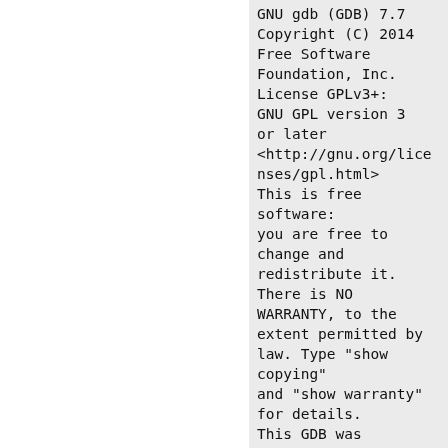GNU gdb (GDB) 7.7
Copyright (C) 2014
Free Software
Foundation, Inc.
License GPLv3+:
GNU GPL version 3
or later
<http://gnu.org/licenses/gpl.html>
This is free software:
you are free to
change and
redistribute it.
There is NO
WARRANTY, to the
extent permitted by
law. Type "show
copying"
and "show warranty"
for details.
This GDB was
configured as "arm-
slitaz-linux-gnueabi".
Type "show